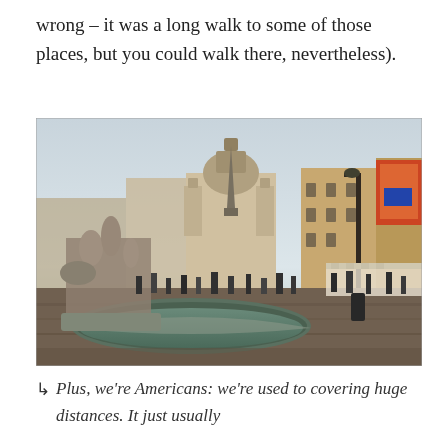wrong – it was a long walk to some of those places, but you could walk there, nevertheless).
[Figure (photo): Photo of Piazza Navona in Rome, showing a baroque fountain with sculptures in the foreground, an obelisk in the center background, the Church of Sant'Agnese in Agone with its dome and twin towers, surrounding historic buildings, market stalls on the right, and crowds of people walking through the plaza. The sky is overcast and the scene appears to be taken in winter.]
↳  Plus, we're Americans: we're used to covering huge distances. It just usually